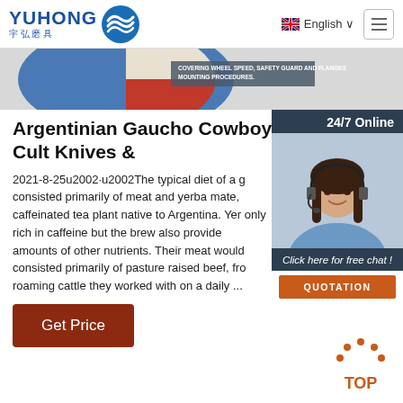YUHONG 宇弘磨具 | English
[Figure (illustration): Partial view of a circular grinding wheel/abrasive disc with blue and red sections, with text 'COVERING WHEEL SPEED, SAFETY GUARD AND FLANGES MOUNTING PROCEDURES']
[Figure (photo): 24/7 Online customer service chat widget with photo of smiling woman with headset, 'Click here for free chat!' text, and orange QUOTATION button]
Argentinian Gaucho Cowboy Cult Knives &
2021-8-25u2002·u2002The typical diet of a g consisted primarily of meat and yerba mate, caffeinated tea plant native to Argentina. Yer only rich in caffeine but the brew also provide amounts of other nutrients. Their meat would consisted primarily of pasture raised beef, fro roaming cattle they worked with on a daily ...
[Figure (other): Get Price button - brown/rust colored rectangular button with white text 'Get Price']
[Figure (other): TOP navigation button with orange dot pattern and 'TOP' text in orange]